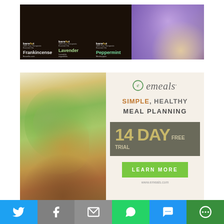[Figure (photo): Advertisement for bareFoot essential oils showing three dark bottles labeled Frankincense, Lavender, Peppermint with botanical names, alongside a photo of a woman holding lavender flowers in a purple lavender field]
[Figure (photo): Advertisement for eMeals showing a food photo of grilled chicken with cucumber slices, peach, and onion on left; right side has eMeals logo, tagline SIMPLE, HEALTHY MEAL PLANNING, 14 DAY FREE TRIAL banner in olive green, green LEARN MORE button, and www.emeals.com URL]
[Figure (infographic): Social sharing bar with six buttons: Twitter (blue bird icon), Facebook (gray F icon), Email (gray envelope icon), WhatsApp (green phone icon), SMS (blue message bubble icon), More (green circular menu icon)]